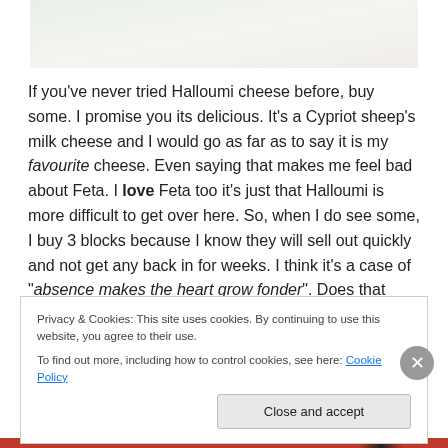[Figure (photo): Partial image of food/halloumi at top of page]
If you’ve never tried Halloumi cheese before, buy some. I promise you its delicious. It’s a Cypriot sheep’s milk cheese and I would go as far as to say it is my favourite cheese. Even saying that makes me feel bad about Feta. I love Feta too it's just that Halloumi is more difficult to get over here. So, when I do see some, I buy 3 blocks because I know they will sell out quickly and not get any back in for weeks. I think it’s a case of “absence makes the heart grow fonder”. Does that apply to cheese too? I
Privacy & Cookies: This site uses cookies. By continuing to use this website, you agree to their use.
To find out more, including how to control cookies, see here: Cookie Policy
Close and accept